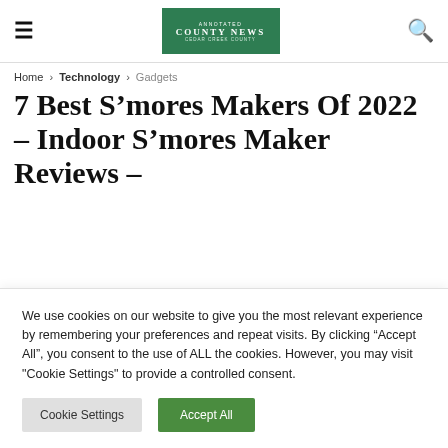≡  COUNTY NEWS  🔍
Home > Technology > Gadgets
7 Best S'mores Makers Of 2022 – Indoor S'mores Maker Reviews –
We use cookies on our website to give you the most relevant experience by remembering your preferences and repeat visits. By clicking "Accept All", you consent to the use of ALL the cookies. However, you may visit "Cookie Settings" to provide a controlled consent.
Cookie Settings | Accept All